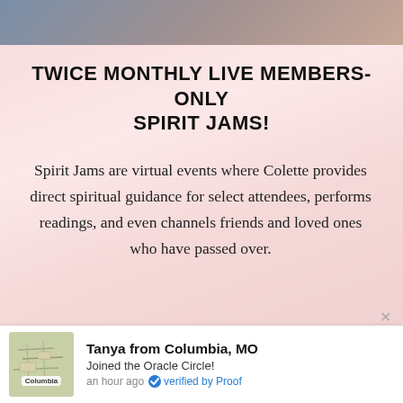[Figure (photo): Top banner photo showing a person, partially cropped]
TWICE MONTHLY LIVE MEMBERS-ONLY SPIRIT JAMS!
Spirit Jams are virtual events where Colette provides direct spiritual guidance for select attendees, performs readings, and even channels friends and loved ones who have passed over.
[Figure (photo): Bottom banner showing a dark device/tablet screen with green background]
Tanya from Columbia, MO
Joined the Oracle Circle!
an hour ago  verified by Proof